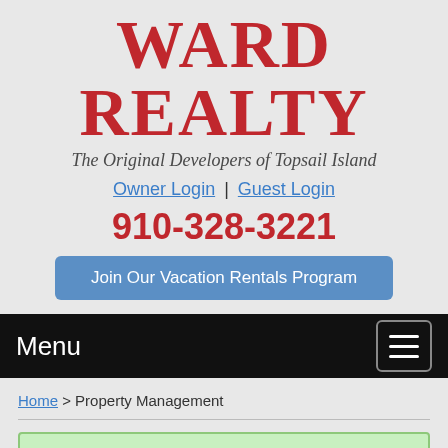WARD REALTY
The Original Developers of Topsail Island
Owner Login | Guest Login
910-328-3221
Join Our Vacation Rentals Program
Menu
Home > Property Management
✔ Your page has been saved!
[Figure (photo): Partial top view of a room interior with blue chairs and wooden floor]